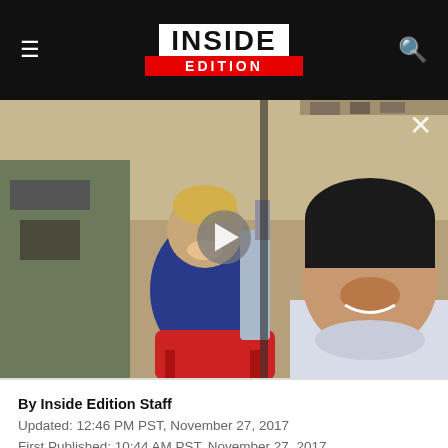INSIDE EDITION
[Figure (photo): Video thumbnail showing two children — a baby in a red seat and an older boy smiling — with a play button overlay. Indoor setting, vintage/old photo quality.]
By Inside Edition Staff
Updated: 12:46 PM PST, November 27, 2017
First Published: 10:44 AM PST, November 27, 2017
Her mother Doria is the only family